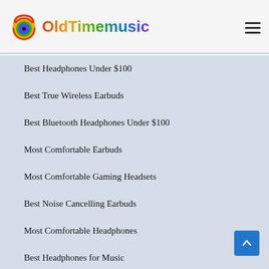OldTimemusic
Best Headphones Under $100
Best True Wireless Earbuds
Best Bluetooth Headphones Under $100
Most Comfortable Earbuds
Most Comfortable Gaming Headsets
Best Noise Cancelling Earbuds
Most Comfortable Headphones
Best Headphones for Music
Best Ski Helmet Headphones
Best Wireless Bluetooth Headphones
Best Sound Quality Earbuds
Best Earbuds Under $100